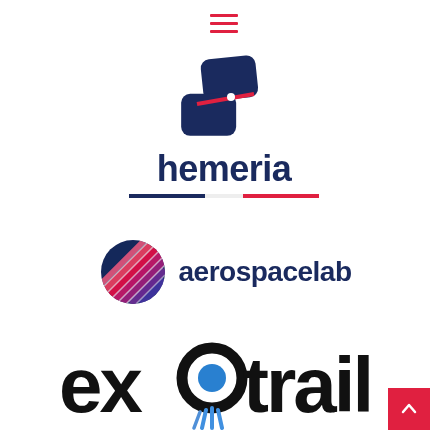[Figure (logo): Hamburger menu icon with three horizontal red lines]
[Figure (logo): Hemeria logo: two dark blue angular shapes resembling satellite panels with a red/white stripe, text 'hemeria' in dark blue bold lowercase with a French tricolor underline (blue-white-red)]
[Figure (logo): Aerospacelab logo: a circular globe-like icon with diagonal colored lines transitioning from red/pink to dark blue, next to text 'aerospacelab' in dark blue lowercase]
[Figure (logo): Exotrail logo: stylized bold lowercase text 'exotrail' in near-black with a blue circle in the 'o', blue thruster flame lines below the 'o', and the letter 'a' stylized as a circular arc]